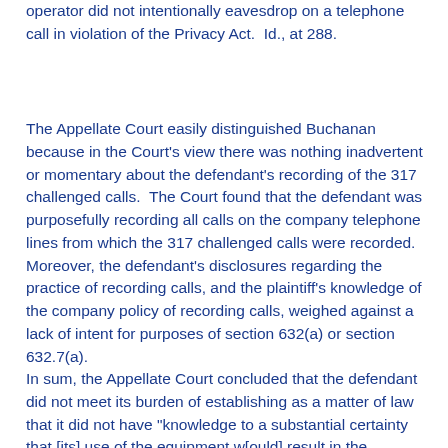operator did not intentionally eavesdrop on a telephone call in violation of the Privacy Act.  Id., at 288.
The Appellate Court easily distinguished Buchanan because in the Court's view there was nothing inadvertent or momentary about the defendant's recording of the 317 challenged calls.  The Court found that the defendant was purposefully recording all calls on the company telephone lines from which the 317 challenged calls were recorded.  Moreover, the defendant's disclosures regarding the practice of recording calls, and the plaintiff's knowledge of the company policy of recording calls, weighed against a lack of intent for purposes of section 632(a) or section 632.7(a).
In sum, the Appellate Court concluded that the defendant did not meet its burden of establishing as a matter of law that it did not have "knowledge to a substantial certainty that [its] use of the equipment w[ould] result in the recording of a